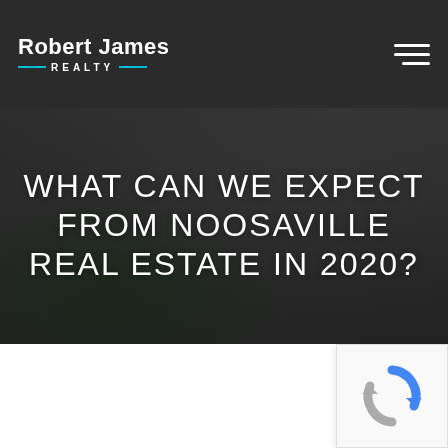Robert James Realty
WHAT CAN WE EXPECT FROM NOOSAVILLE REAL ESTATE IN 2020?
[Figure (illustration): reCAPTCHA widget with blue and grey circular arrow icon]